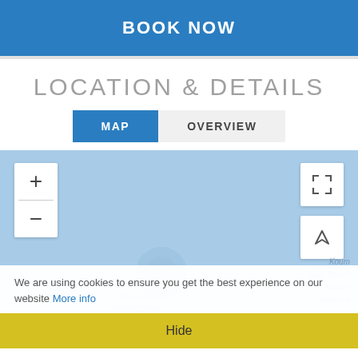BOOK NOW
LOCATION & DETAILS
MAP | OVERVIEW
[Figure (map): Interactive map view showing a coastal/harbor area with zoom controls, fullscreen button, and location button. Map background is light blue representing water. Partially visible map labels include 'Old Venetian Port of Chania', 'Koum', 'Kapi Beach', 'Milatos', 'Hillsboro'.]
We are using cookies to ensure you get the best experience on our website More info
Hide